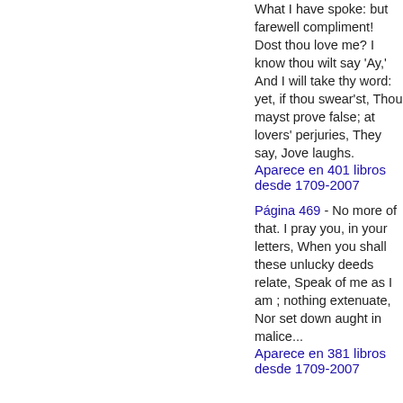What I have spoke: but farewell compliment! Dost thou love me? I know thou wilt say 'Ay,' And I will take thy word: yet, if thou swear'st, Thou mayst prove false; at lovers' perjuries, They say, Jove laughs.
Aparece en 401 libros desde 1709-2007
Página 469 - No more of that. I pray you, in your letters, When you shall these unlucky deeds relate, Speak of me as I am ; nothing extenuate, Nor set down aught in malice...
Aparece en 381 libros desde 1709-2007